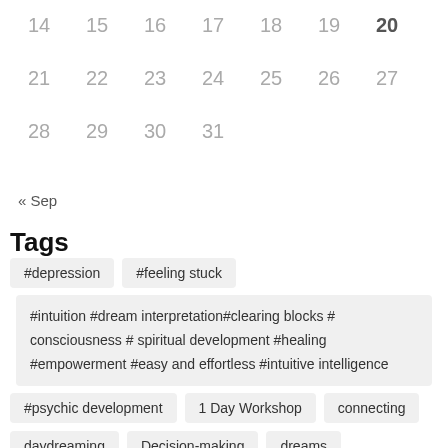| 14 | 15 | 16 | 17 | 18 | 19 | 20 |
| 21 | 22 | 23 | 24 | 25 | 26 | 27 |
| 28 | 29 | 30 | 31 |  |  |  |
« Sep
Tags
#depression
#feeling stuck
#intuition #dream interpretation#clearing blocks # consciousness # spiritual development #healing #empowerment #easy and effortless #intuitive intelligence
#psychic development
1 Day Workshop
connecting
daydreaming
Decision-making
dreams
Easy and Effortless
empowering
empowerment